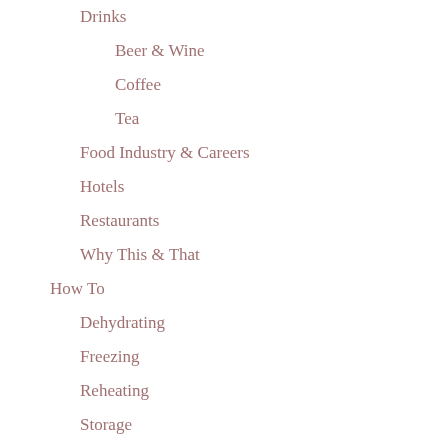Drinks
Beer & Wine
Coffee
Tea
Food Industry & Careers
Hotels
Restaurants
Why This & That
How To
Dehydrating
Freezing
Reheating
Storage